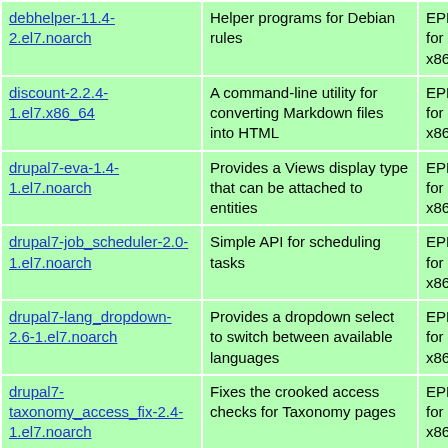| Package | Description | Repo |
| --- | --- | --- |
| debhelper-11.4-2.el7.noarch | Helper programs for Debian rules | EPEL 7 for x86_64 |
| discount-2.2.4-1.el7.x86_64 | A command-line utility for converting Markdown files into HTML | EPEL 7 for x86_64 |
| drupal7-eva-1.4-1.el7.noarch | Provides a Views display type that can be attached to entities | EPEL 7 for x86_64 |
| drupal7-job_scheduler-2.0-1.el7.noarch | Simple API for scheduling tasks | EPEL 7 for x86_64 |
| drupal7-lang_dropdown-2.6-1.el7.noarch | Provides a dropdown select to switch between available languages | EPEL 7 for x86_64 |
| drupal7-taxonomy_access_fix-2.4-1.el7.noarch | Fixes the crooked access checks for Taxonomy pages | EPEL 7 for x86_64 |
| debian-keyring-2017.5-2.el7.noarch | GnuPG archive keys of the Debian archive | EPEL 7 for x86_64 |
| darktable-2.4.4-1.el7.x86_64 | Utility to organize and develop raw images | EPEL 7 for x86_64 |